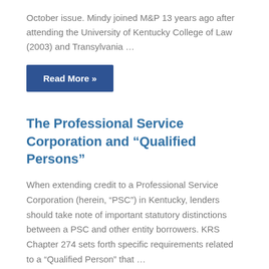October issue. Mindy joined M&P 13 years ago after attending the University of Kentucky College of Law (2003) and Transylvania …
Read More »
The Professional Service Corporation and “Qualified Persons”
When extending credit to a Professional Service Corporation (herein, “PSC”) in Kentucky, lenders should take note of important statutory distinctions between a PSC and other entity borrowers. KRS Chapter 274 sets forth specific requirements related to a “Qualified Person” that …